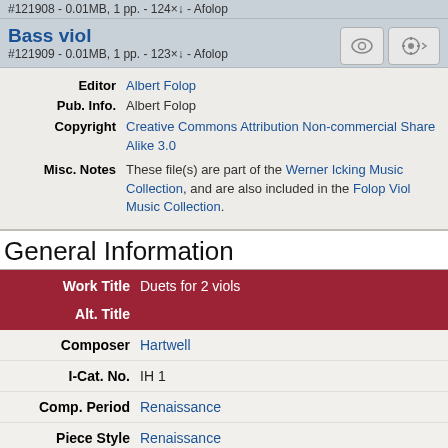#121908 - 0.01MB, 1 pp. - 124× - Afolop
Bass viol
#121909 - 0.01MB, 1 pp. - 123× - Afolop
| Label | Value |
| --- | --- |
| Editor | Albert Folop |
| Pub. Info. | Albert Folop |
| Copyright | Creative Commons Attribution Non-commercial Share Alike 3.0 |
| Misc. Notes | These file(s) are part of the Werner Icking Music Collection, and are also included in the Folop Viol Music Collection. |
General Information
| Field | Value |
| --- | --- |
| Work Title | Duets for 2 viols |
| Alt. Title |  |
| Composer | Hartwell |
| I-Cat. No. | IH 1 |
| Comp. Period | Renaissance |
| Piece Style | Renaissance |